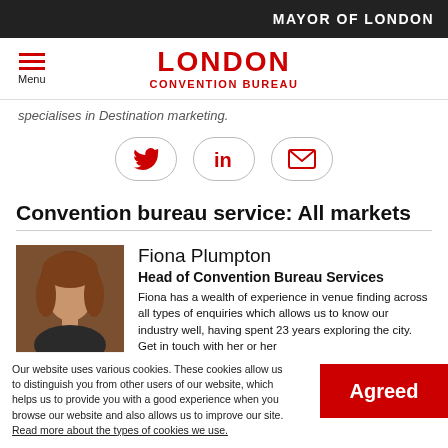MAYOR OF LONDON
[Figure (logo): London Convention Bureau logo with hamburger menu icon]
specialises in Destination marketing.
[Figure (infographic): Social media icons: Twitter, LinkedIn, Email (envelope)]
Convention bureau service: All markets
[Figure (photo): Photo of Fiona Plumpton]
Fiona Plumpton
Head of Convention Bureau Services
Fiona has a wealth of experience in venue finding across all types of enquiries which allows us to know our industry well, having spent 23 years exploring the city. Get in touch with her or her
Our website uses various cookies. These cookies allow us to distinguish you from other users of our website, which helps us to provide you with a good experience when you browse our website and also allows us to improve our site. Read more about the types of cookies we use.
Agreed